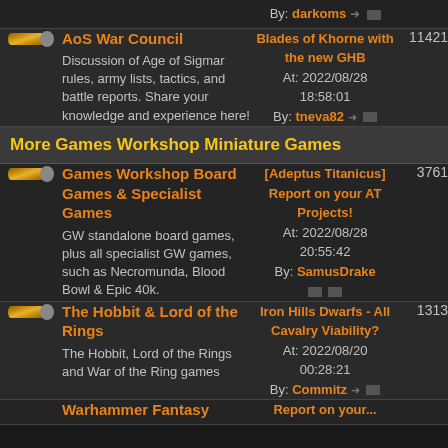|  | Forum | Last Post | Posts |
| --- | --- | --- | --- |
|  | AoS War Council
Discussion of Age of Sigmar rules, army lists, tactics, and battle reports. Share your knowledge and experience here! | Blades of Khorne with the new GHB
At: 2022/08/28 18:58:01
By: tneva82 | 11421 |
| Section | More Games Workshop Miniature Games |  |  |
|  | Games Workshop Board Games & Specialist Games
GW standalone board games, plus all specialist GW games, such as Necromunda, Blood Bowl & Epic 40k. | [Adeptus Titanicus] Report on your AT Projects!
At: 2022/08/28 20:55:42
By: SamusDrake | 3761 |
|  | The Hobbit & Lord of the Rings
The Hobbit, Lord of the Rings and War of the Ring games | Iron Hills Dwarfs - All Cavalry Viability?
At: 2022/08/20 00:28:21
By: Commitz | 1313 |
|  | Warhammer Fantasy | Report on your... |  |